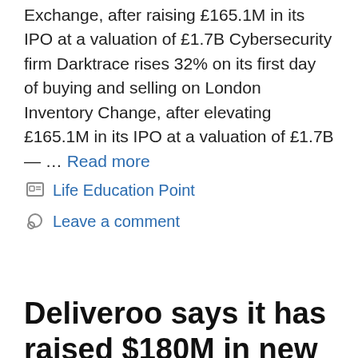Exchange, after raising £165.1M in its IPO at a valuation of £1.7B Cybersecurity firm Darktrace rises 32% on its first day of buying and selling on London Inventory Change, after elevating £165.1M in its IPO at a valuation of £1.7B — … Read more
Life Education Point
Leave a comment
Deliveroo says it has raised $180M in new funding from existing investors led by Durable Capital Partners and Fidelity Management at